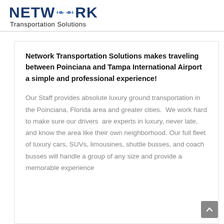[Figure (logo): Network Transportation Solutions logo with stylized fish arrows replacing the 'O' in NETWORK, and subtitle 'Transportation Solutions']
Network Transportation Solutions makes traveling between Poinciana and Tampa International Airport a simple and professional experience!
Our Staff provides absolute luxury ground transportation in the Poinciana, Florida area and greater cities.  We work hard to make sure our drivers  are experts in luxury, never late, and know the area like their own neighborhood. Our full fleet of luxury cars, SUVs, limousines, shuttle busses, and coach busses will handle a group of any size and provide a memorable experience